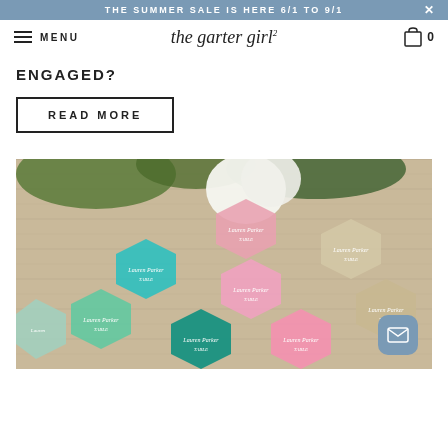THE SUMMER SALE IS HERE 6/1 TO 9/1
MENU | the garter girl | 0
ENGAGED?
READ MORE
[Figure (photo): Colorful hexagonal acrylic place cards with 'Lauren Parker TABLE' written in white script, arranged on a burlap surface with floral greenery in the background. Colors include pink, teal, green, and clear.]